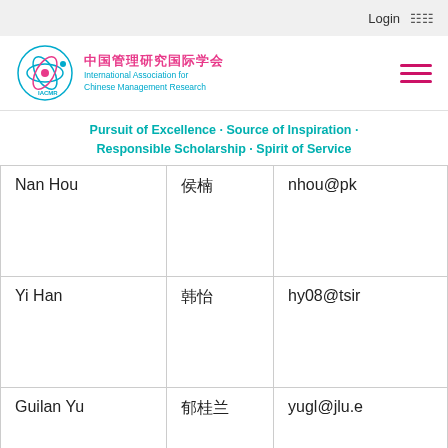Login
[Figure (logo): IACMR logo with circular icon and Chinese/English organization name: 中国管理研究国际学会 International Association for Chinese Management Research]
Pursuit of Excellence · Source of Inspiration · Responsible Scholarship · Spirit of Service
| Nan Hou | 侯楠 | nhou@pk |
| Yi Han | 韩怡 | hy08@tsir |
| Guilan Yu | 郁桂兰 | yugl@jlu.e |